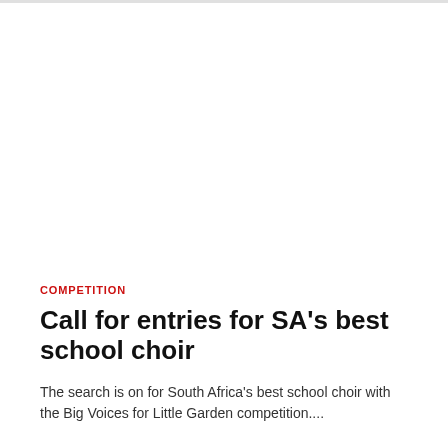COMPETITION
Call for entries for SA's best school choir
The search is on for South Africa's best school choir with the Big Voices for Little Garden competition....